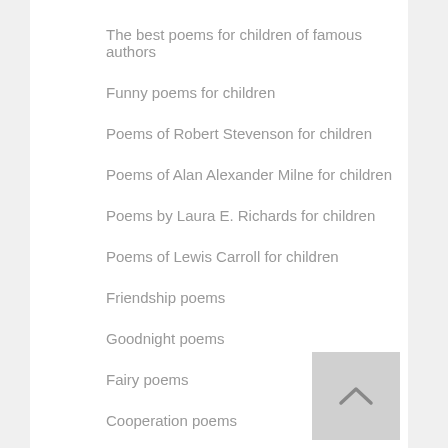The best poems for children of famous authors
Funny poems for children
Poems of Robert Stevenson for children
Poems of Alan Alexander Milne for children
Poems by Laura E. Richards for children
Poems of Lewis Carroll for children
Friendship poems
Goodnight poems
Fairy poems
Cooperation poems
Animal poems